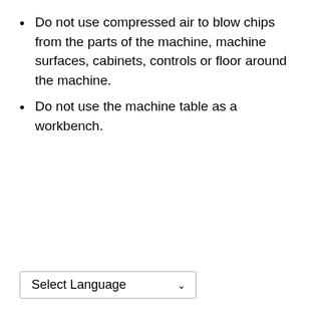Do not use compressed air to blow chips from the parts of the machine, machine surfaces, cabinets, controls or floor around the machine.
Do not use the machine table as a workbench.
Select Language